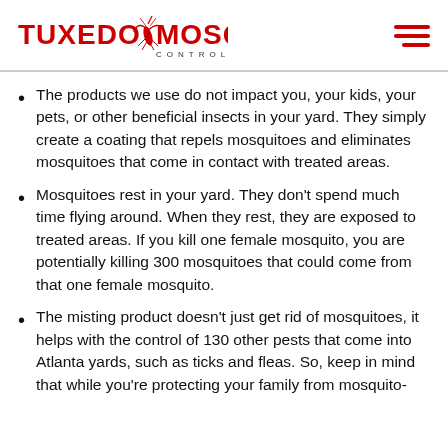TUXEDO MOSQUITO CONTROL
The products we use do not impact you, your kids, your pets, or other beneficial insects in your yard. They simply create a coating that repels mosquitoes and eliminates mosquitoes that come in contact with treated areas.
Mosquitoes rest in your yard. They don't spend much time flying around. When they rest, they are exposed to treated areas. If you kill one female mosquito, you are potentially killing 300 mosquitoes that could come from that one female mosquito.
The misting product doesn't just get rid of mosquitoes, it helps with the control of 130 other pests that come into Atlanta yards, such as ticks and fleas. So, keep in mind that while you're protecting your family from mosquito-